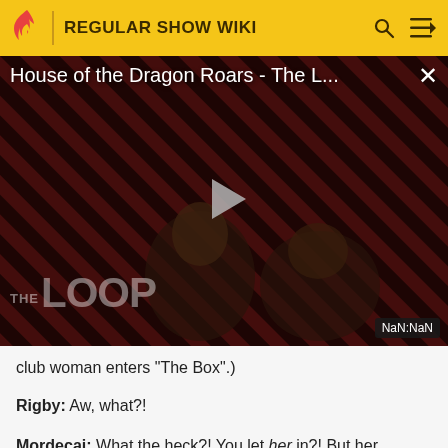REGULAR SHOW WIKI
[Figure (screenshot): Embedded video player showing 'House of the Dragon Roars - The L...' with a dark reddish-striped background, two figures, a play button, THE LOOP watermark, and NaN:NaN timestamp badge.]
club woman enters "The Box".)
Rigby: Aw, what?!
Mordecai: What the heck?! You let her in?! But her clothes are ridiculous!